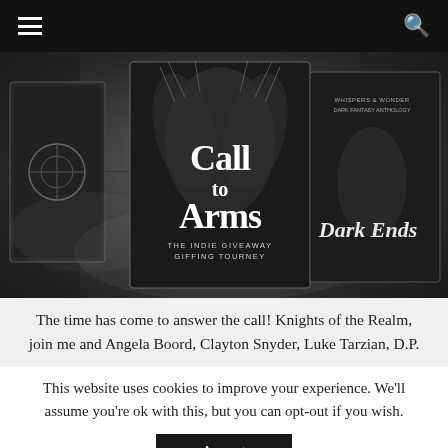≡  [navigation]  🔍
[Figure (photo): Dark atmospheric photo of book covers including 'Call to Arms – The Indie Giveaway Giffing Tourney' and 'Dark Ends' arranged on a stone background with smoke effects]
The time has come to answer the call! Knights of the Realm, join me and Angela Boord, Clayton Snyder, Luke Tarzian, D.P.
This website uses cookies to improve your experience. We'll assume you're ok with this, but you can opt-out if you wish.
Accept